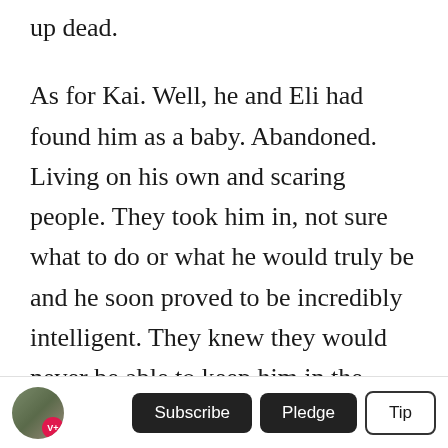up dead.
As for Kai. Well, he and Eli had found him as a baby. Abandoned. Living on his own and scaring people. They took him in, not sure what to do or what he would truly be and he soon proved to be incredibly intelligent. They knew they would never be able to keep him in the house and he soon adapted to living outdoors and then they gave birth to Marlena and it was like Kai fell in love. Although he was protective of the entire family, he had a special bond with Marlena. They understood each other on a level that Eli and Marc could never
Subscribe  Pledge  Tip